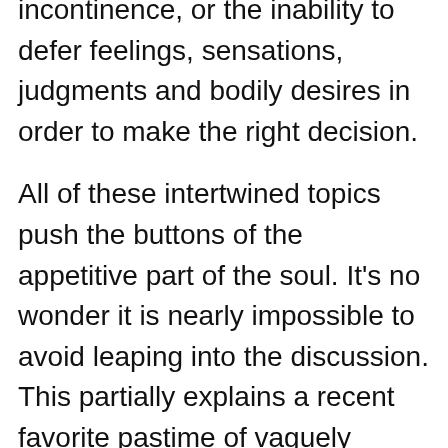incontinence, or the inability to defer feelings, sensations, judgments and bodily desires in order to make the right decision.

All of these intertwined topics push the buttons of the appetitive part of the soul. It's no wonder it is nearly impossible to avoid leaping into the discussion. This partially explains a recent favorite pastime of vaguely psychoanalyzing people from afar. Supposedly every philosopher, writer, thinker, leader, musician, and artist was likely a homosexual. Several of them probably even had AIDS. All poetry is merely homoerotic and so is most art.